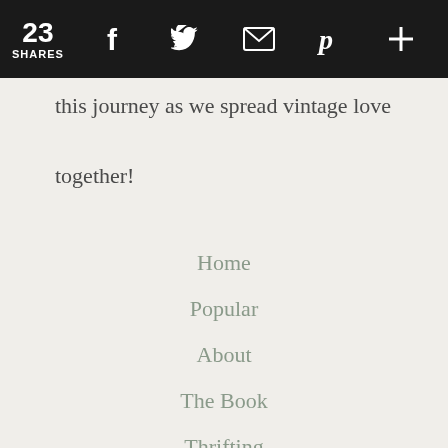23 SHARES [Facebook] [Twitter] [Email] [Pinterest] [+]
this journey as we spread vintage love together!
Home
Popular
About
The Book
Thrifting